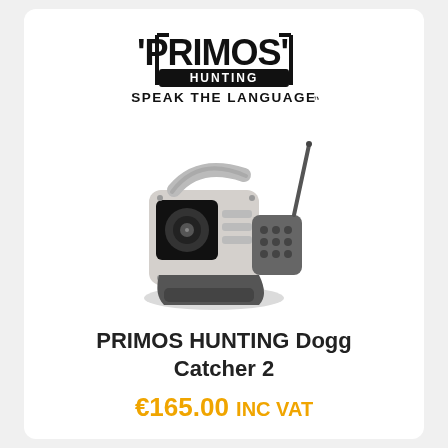[Figure (logo): Primos Hunting logo with text SPEAK THE LANGUAGE]
[Figure (photo): Primos Hunting Dogg Catcher 2 electronic predator call device, grey and dark grey, with speaker, handle, remote control unit and antenna]
PRIMOS HUNTING Dogg Catcher 2
€165.00 INC VAT